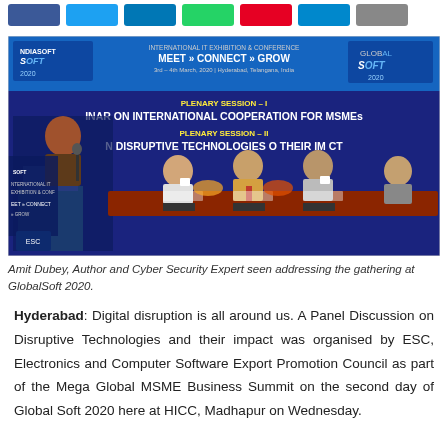[Figure (other): Social media share buttons: Facebook, Twitter, LinkedIn, WhatsApp, Pinterest, Telegram, and a grey button]
[Figure (photo): Panel discussion at GlobalSoft 2020 conference. A speaker at a podium on the left, and several panelists seated at a table against a blue backdrop showing 'GlobalSoft 2020 - International IT Exhibition & Conference - Meet Connect Grow, 3rd-4th March 2020, Hyderabad, Telangana, India'. Text on backdrop reads 'Plenary Session I: Seminar on International Cooperation for MSMEs' and 'Plenary Session II: On Disruptive Technologies and their Impact'.]
Amit Dubey, Author and Cyber Security Expert seen addressing the gathering at GlobalSoft 2020.
Hyderabad: Digital disruption is all around us. A Panel Discussion on Disruptive Technologies and their impact was organised by ESC, Electronics and Computer Software Export Promotion Council as part of the Mega Global MSME Business Summit on the second day of Global Soft 2020 here at HICC, Madhapur on Wednesday.